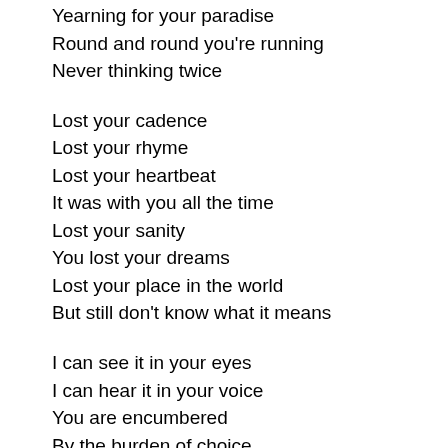Yearning for your paradise
Round and round you're running
Never thinking twice
Lost your cadence
Lost your rhyme
Lost your heartbeat
It was with you all the time
Lost your sanity
You lost your dreams
Lost your place in the world
But still don't know what it means
I can see it in your eyes
I can hear it in your voice
You are encumbered
By the burden of choice
Drowning
Lifejacket in your hand
Swirling through the whirlpools